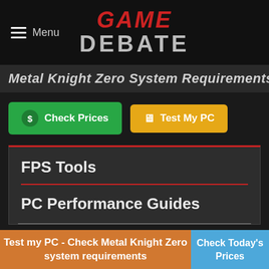Menu | GAME DEBATE
Metal Knight Zero System Requirements
Check Prices
Test My PC
FPS Tools
PC Performance Guides
Test my PC - Check Metal Knight Zero system requirements
Check Today's Prices